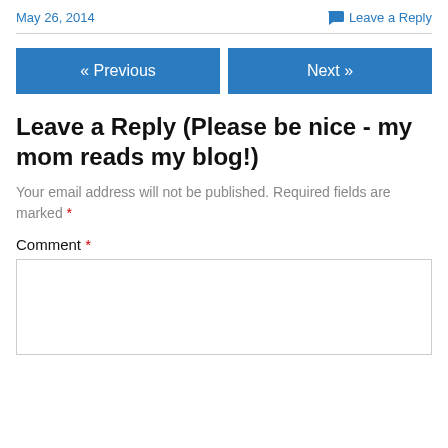May 26, 2014
Leave a Reply
« Previous
Next »
Leave a Reply (Please be nice - my mom reads my blog!)
Your email address will not be published. Required fields are marked *
Comment *